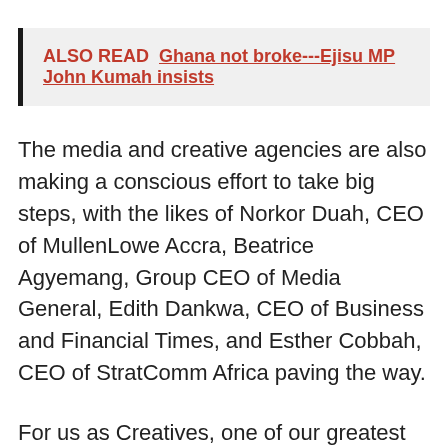ALSO READ  Ghana not broke---Ejisu MP John Kumah insists
The media and creative agencies are also making a conscious effort to take big steps, with the likes of Norkor Duah, CEO of MullenLowe Accra, Beatrice Agyemang, Group CEO of Media General, Edith Dankwa, CEO of Business and Financial Times, and Esther Cobbah, CEO of StratComm Africa paving the way.
For us as Creatives, one of our greatest goals